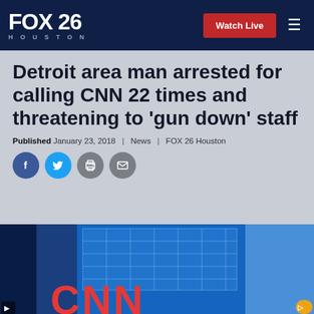FOX 26 HOUSTON | Watch Live
Detroit area man arrested for calling CNN 22 times and threatening to 'gun down' staff
Published January 23, 2018 | News | FOX 26 Houston
[Figure (photo): CNN building exterior with large red CNN logo, blue glass facade]
[Figure (infographic): Social share buttons row: Facebook, Twitter, Print, Email]